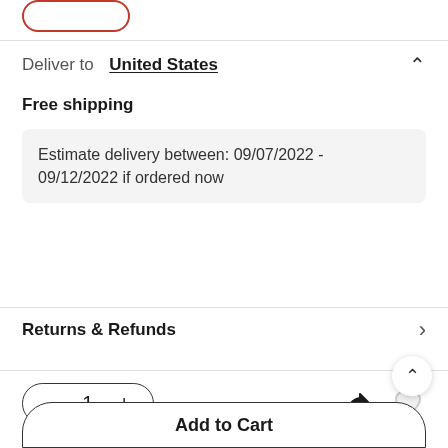[Figure (screenshot): Partial red-outlined button stub at top of page]
Deliver to  United States
Free shipping
Estimate delivery between: 09/07/2022 - 09/12/2022 if ordered now
Returns & Refunds
1
Add to Cart